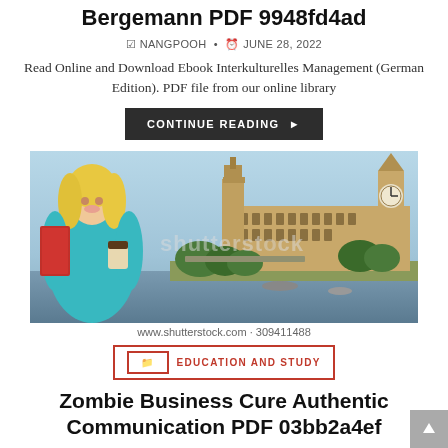Bergemann PDF 9948fd4ad
NANGPOOH · JUNE 28, 2022
Read Online and Download Ebook Interkulturelles Management (German Edition). PDF file from our online library
CONTINUE READING ▶
[Figure (photo): Shutterstock stock photo showing a smiling blonde woman in a teal top holding red folders and a coffee cup, with the Houses of Parliament and Big Ben in the background. Watermark text reads 'shutterstock'. Image ID 309411488.]
www.shutterstock.com · 309411488
EDUCATION AND STUDY
Zombie Business Cure Authentic Communication PDF 03bb2a4ef